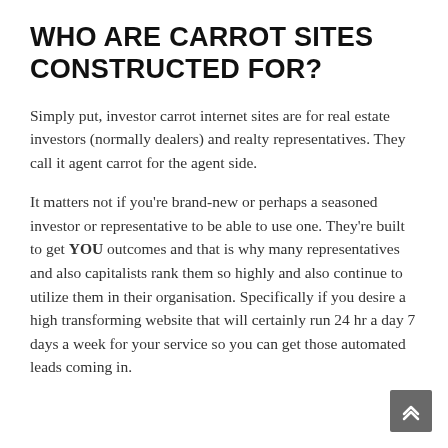WHO ARE CARROT SITES CONSTRUCTED FOR?
Simply put, investor carrot internet sites are for real estate investors (normally dealers) and realty representatives. They call it agent carrot for the agent side.
It matters not if you're brand-new or perhaps a seasoned investor or representative to be able to use one. They're built to get YOU outcomes and that is why many representatives and also capitalists rank them so highly and also continue to utilize them in their organisation. Specifically if you desire a high transforming website that will certainly run 24 hr a day 7 days a week for your service so you can get those automated leads coming in.